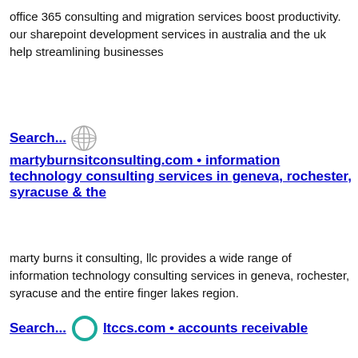office 365 consulting and migration services boost productivity. our sharepoint development services in australia and the uk help streamlining businesses
Search... martyburnsitconsulting.com • information technology consulting services in geneva, rochester, syracuse & the
marty burns it consulting, llc provides a wide range of information technology consulting services in geneva, rochester, syracuse and the entire finger lakes region.
Search... ltccs.com • accounts receivable